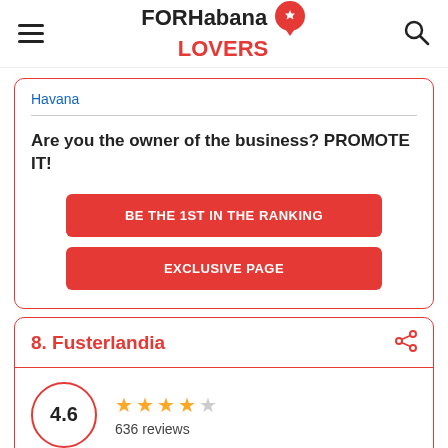FORHabana LOVERS
Havana
Are you the owner of the business? PROMOTE IT!
BE THE 1ST IN THE RANKING
EXCLUSIVE PAGE
8. Fusterlandia
4.6 — 636 reviews